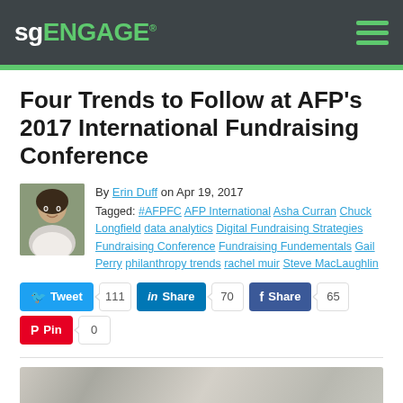sgENGAGE
Four Trends to Follow at AFP's 2017 International Fundraising Conference
By Erin Duff on Apr 19, 2017
Tagged: #AFPFC AFP International Asha Curran Chuck Longfield data analytics Digital Fundraising Strategies Fundraising Conference Fundraising Fundementals Gail Perry philanthropy trends rachel muir Steve MacLaughlin
Tweet 111  Share 70  Share 65  Pin 0
[Figure (photo): Bottom portion of a blurred background photo related to the conference]